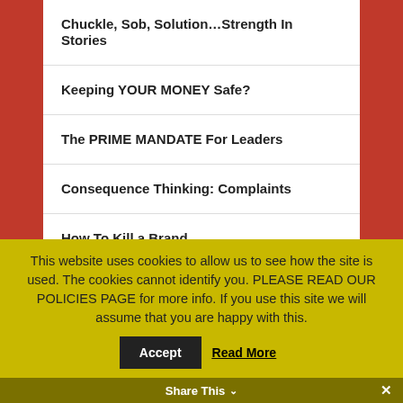Chuckle, Sob, Solution...Strength In Stories
Keeping YOUR MONEY Safe?
The PRIME MANDATE For Leaders
Consequence Thinking: Complaints
How To Kill a Brand
Sea Shells: When Niche Players Become Gorillas
Christmas Gifts: Start-Ups While Unemployed
This website uses cookies to allow us to see how the site is used. The cookies cannot identify you. PLEASE READ OUR POLICIES PAGE for more info. If you use this site we will assume that you are happy with this.
Share This